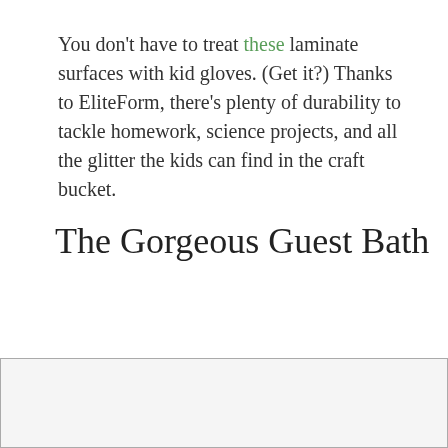You don't have to treat these laminate surfaces with kid gloves. (Get it?) Thanks to EliteForm, there's plenty of durability to tackle homework, science projects, and all the glitter the kids can find in the craft bucket.
The Gorgeous Guest Bath
[Figure (photo): A cropped image area at the bottom of the page, partially visible, with a light gray background and border.]